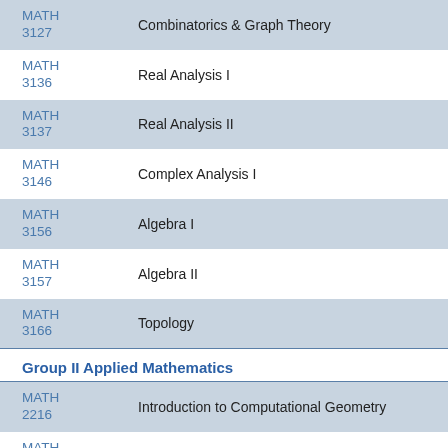| Code | Course Name |
| --- | --- |
| MATH 3127 | Combinatorics & Graph Theory |
| MATH 3136 | Real Analysis I |
| MATH 3137 | Real Analysis II |
| MATH 3146 | Complex Analysis I |
| MATH 3156 | Algebra I |
| MATH 3157 | Algebra II |
| MATH 3166 | Topology |
Group II Applied Mathematics
| Code | Course Name |
| --- | --- |
| MATH 2216 | Introduction to Computational Geometry |
| MATH 3226 | Introduction to Stochastic Processes |
| MATH 3??? | Operations Research |